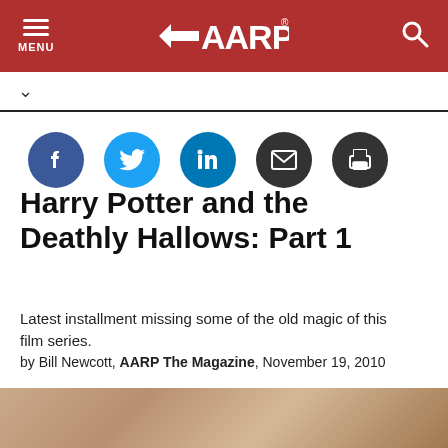AARP — MENU | AARP Logo | Search
[Figure (infographic): Social share buttons: Facebook, Twitter, LinkedIn, Email, Print]
Harry Potter and the Deathly Hallows: Part 1
Latest installment missing some of the old magic of this film series.
by Bill Newcott, AARP The Magazine, November 19, 2010
[Figure (photo): Partial photo strip at the bottom of the article page]